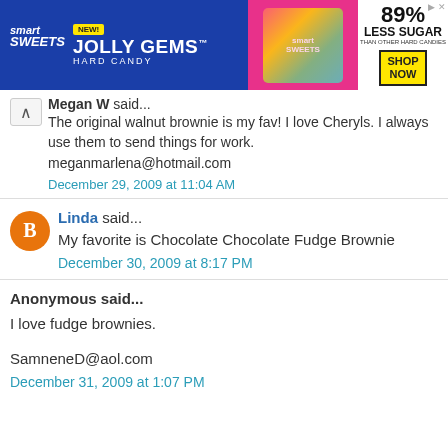[Figure (photo): Smart Sweets Jolly Gems Hard Candy advertisement banner. Blue background on left with 'NEW!' badge, 'JOLLY GEMS' and 'HARD CANDY' text. Pink section in middle with candy images. White section on right showing '89% LESS SUGAR THAN OTHER HARD CANDIES' and yellow 'SHOP NOW' button.]
Megan W said...
The original walnut brownie is my fav! I love Cheryls. I always use them to send things for work.
meganmarlena@hotmail.com
December 29, 2009 at 11:04 AM
Linda said...
My favorite is Chocolate Chocolate Fudge Brownie
December 30, 2009 at 8:17 PM
Anonymous said...
I love fudge brownies.

SamneneD@aol.com
December 31, 2009 at 1:07 PM